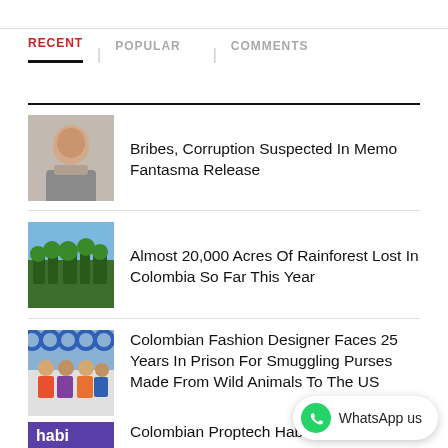RECENT | POPULAR | COMMENTS
Bribes, Corruption Suspected In Memo Fantasma Release
Almost 20,000 Acres Of Rainforest Lost In Colombia So Far This Year
Colombian Fashion Designer Faces 25 Years In Prison For Smuggling Purses Made From Wild Animals To The US
Colombian Proptech Habi Raises